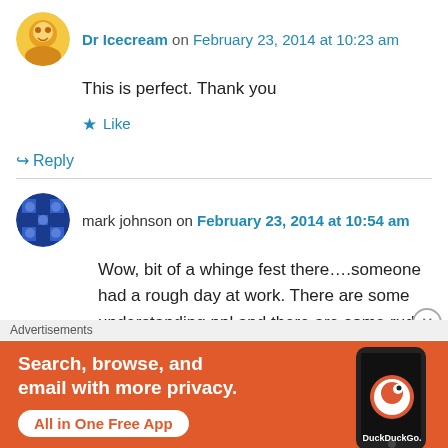Dr Icecream on February 23, 2014 at 10:23 am
This is perfect. Thank you
★ Like
↪ Reply
mark johnson on February 23, 2014 at 10:54 am
Wow, bit of a whinge fest there….someone had a rough day at work. There are some understanding ppl and there are some rude ppl
Advertisements
[Figure (screenshot): DuckDuckGo advertisement: orange background with white text 'Search, browse, and email with more privacy.' and 'All in One Free App' button, with a phone image and DuckDuckGo logo]